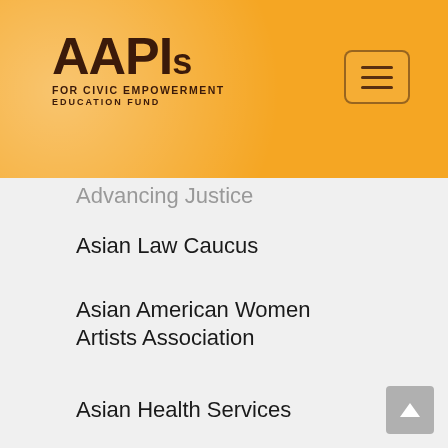[Figure (logo): AAPIs for Civic Empowerment Education Fund logo with hamburger menu button on golden/amber banner background]
Advancing Justice
Asian Law Caucus
Asian American Women Artists Association
Asian Health Services
Asian Immigrant Women Advocates
Asian Pacific American Democratic Caucus of Alameda County